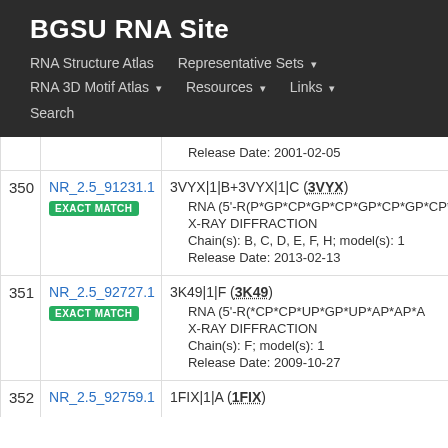BGSU RNA Site
RNA Structure Atlas | Representative Sets ▾ | RNA 3D Motif Atlas ▾ | Resources ▾ | Links ▾ | Search
| # | ID | Details |
| --- | --- | --- |
|  |  | Release Date: 2001-02-05 |
| 350 | NR_2.5_91231.1 EXACT MATCH | 3VYX|1|B+3VYX|1|C (3VYX)
• RNA (5'-R(P*GP*CP*GP*CP*GP*CP*GP*...
• X-RAY DIFFRACTION
• Chain(s): B, C, D, E, F, H; model(s): 1
• Release Date: 2013-02-13 |
| 351 | NR_2.5_92727.1 EXACT MATCH | 3K49|1|F (3K49)
• RNA (5'-R(*CP*CP*UP*GP*UP*AP*AP*A...
• X-RAY DIFFRACTION
• Chain(s): F; model(s): 1
• Release Date: 2009-10-27 |
| 352 | NR_2.5_92759.1 | 1FIX|1|A (1FIX) |